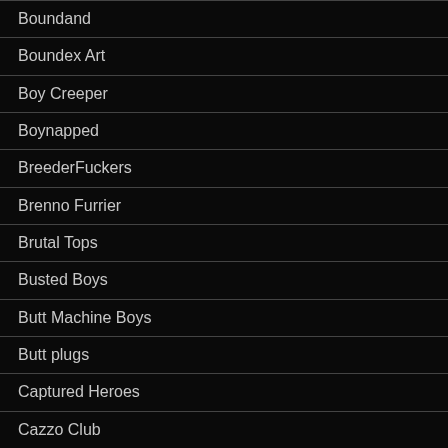Boundand
Boundex Art
Boy Creeper
Boynapped
BreederFuckers
Brenno Furrier
Brutal Tops
Busted Boys
Butt Machine Boys
Butt plugs
Captured Heroes
Cazzo Club